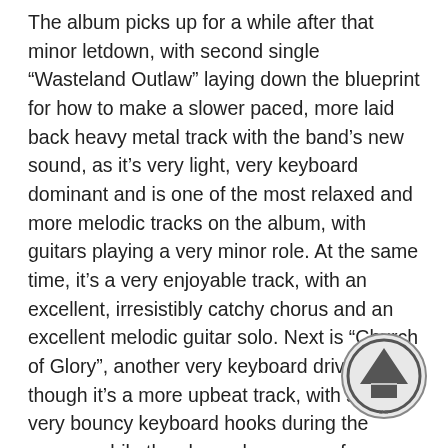The album picks up for a while after that minor letdown, with second single “Wasteland Outlaw” laying down the blueprint for how to make a slower paced, more laid back heavy metal track with the band’s new sound, as it’s very light, very keyboard dominant and is one of the most relaxed and more melodic tracks on the album, with guitars playing a very minor role. At the same time, it’s a very enjoyable track, with an excellent, irresistibly catchy chorus and an excellent melodic guitar solo. Next is “Church of Glory”, another very keyboard driven track, though it’s a more upbeat track, with some very bouncy keyboard hooks during the verses, while the chorus has more of a classic feel to it, with some nice melodic guitar work, some insanely epic backing vocals, and awesome vocal melodies all around. It’s definitely one of the best, most fun tracks on the album, though some fans may be turned off by the over the top keys. Another strong track is “Maverick Supreme”, which is very much in line with the previous track, though the keyboards are a bit more restrained, and
[Figure (logo): Circular logo with an upward arrow/chevron symbol inside, with partial text around the bottom edge, overlaid on bottom-right corner of the text.]